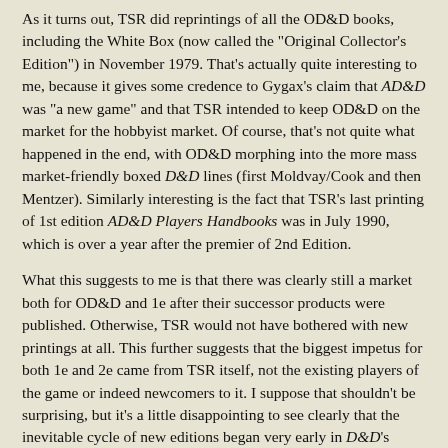As it turns out, TSR did reprintings of all the OD&D books, including the White Box (now called the "Original Collector's Edition") in November 1979. That's actually quite interesting to me, because it gives some credence to Gygax's claim that AD&D was "a new game" and that TSR intended to keep OD&D on the market for the hobbyist market. Of course, that's not quite what happened in the end, with OD&D morphing into the more mass market-friendly boxed D&D lines (first Moldvay/Cook and then Mentzer). Similarly interesting is the fact that TSR's last printing of 1st edition AD&D Players Handbooks was in July 1990, which is over a year after the premier of 2nd Edition.
What this suggests to me is that there was clearly still a market both for OD&D and 1e after their successor products were published. Otherwise, TSR would not have bothered with new printings at all. This further suggests that the biggest impetus for both 1e and 2e came from TSR itself, not the existing players of the game or indeed newcomers to it. I suppose that shouldn't be surprising, but it's a little disappointing to see clearly that the inevitable cycle of new editions began very early in D&D's existence and could, in many ways, be called one of the game's oldest "traditions."